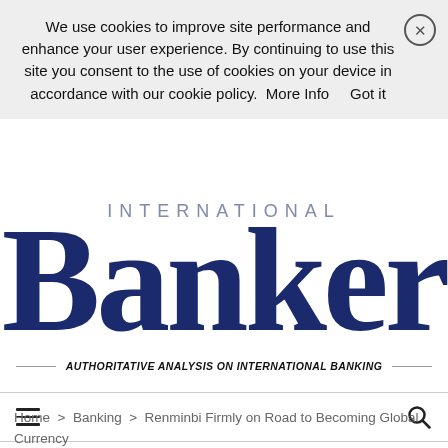We use cookies to improve site performance and enhance your user experience. By continuing to use this site you consent to the use of cookies on your device in accordance with our cookie policy.  More Info    Got it
[Figure (logo): International Banker logo — large serif 'Banker' text in dark navy blue with 'INTERNATIONAL' in smaller spaced caps above]
AUTHORITATIVE ANALYSIS ON INTERNATIONAL BANKING
Home  >  Banking  >  Renminbi Firmly on Road to Becoming Global Currency